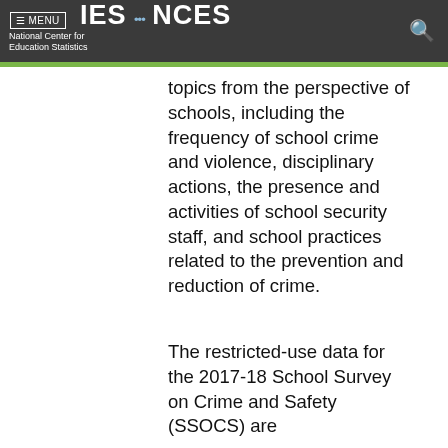≡ MENU  IES · NCES  National Center for Education Statistics
topics from the perspective of schools, including the frequency of school crime and violence, disciplinary actions, the presence and activities of school security staff, and school practices related to the prevention and reduction of crime.
The restricted-use data for the 2017-18 School Survey on Crime and Safety (SSOCS) are